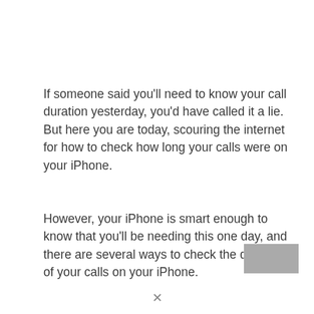If someone said you'll need to know your call duration yesterday, you'd have called it a lie. But here you are today, scouring the internet for how to check how long your calls were on your iPhone.
However, your iPhone is smart enough to know that you'll be needing this one day, and there are several ways to check the duration of your calls on your iPhone.